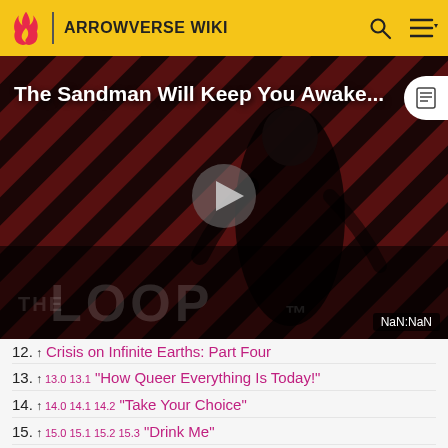ARROWVERSE WIKI
[Figure (screenshot): Video thumbnail for 'The Sandman Will Keep You Awake...' showing a dark-clad figure against a red and black diagonal striped background, with a play button in the center and 'THE LOOP' text at the bottom. NaN:NaN timer badge shown.]
12. ↑ Crisis on Infinite Earths: Part Four
13. ↑ 13.0 13.1 "How Queer Everything Is Today!"
14. ↑ 14.0 14.1 14.2 "Take Your Choice"
15. ↑ 15.0 15.1 15.2 15.3 "Drink Me"
16. ↑ 16.0 16.1 16.2 16.3 "Grinning From Ear to Ear"
17. ↑ 17.0 17.1 17.2 17.3 17.4 "Through the Looking-Glass"